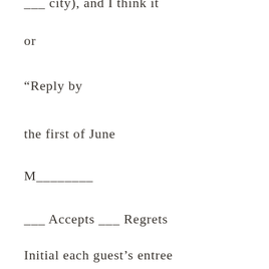___ city), and I think it
or
“Reply by
the first of June
M________
___ Accepts ___ Regrets
Initial each guest’s entree